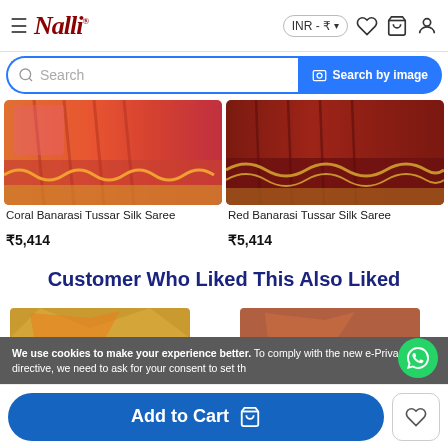Nalli — INR ₹
[Figure (screenshot): Search bar with 'Search' placeholder and 'Search by image' blue button]
[Figure (photo): Coral Banarasi Tussar Silk Saree product image]
Coral Banarasi Tussar Silk Saree
₹5,414
[Figure (photo): Red Banarasi Tussar Silk Saree product image]
Red Banarasi Tussar Silk Saree
₹5,414
Customer Who Liked This Also Liked
[Figure (photo): Gold/orange saree recommendation product image]
[Figure (photo): Red/rust saree recommendation product image]
We use cookies to make your experience better. To comply with the new e-Privacy directive, we need to ask for your consent to set th
Add to Cart